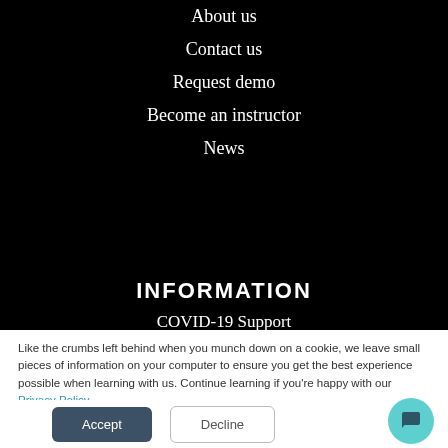About us
Contact us
Request demo
Become an instructor
News
INFORMATION
COVID-19 Support
Like the crumbs left behind when you munch down on a cookie, we leave small pieces of information on your computer to ensure you get the best experience possible when learning with us. Continue learning if you're happy with our Privacy Policy.
We won't track your information when you visit our site. But in order to comply with your preferences, we'll have to use just one tiny cookie so that you're not asked to make this choice again.